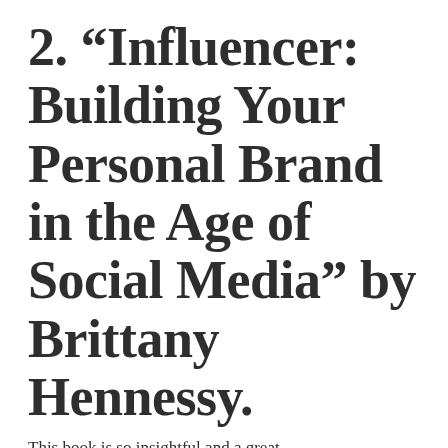2. “Influencer: Building Your Personal Brand in the Age of Social Media” by Brittany Hennessy.
This book is so insightful and a great